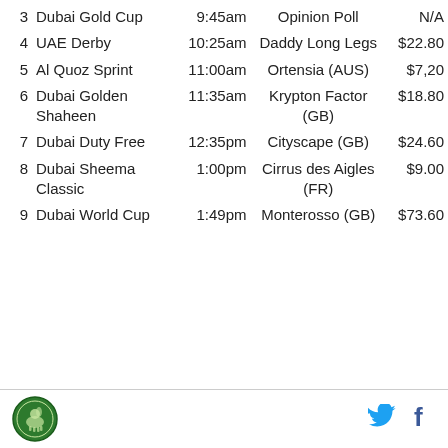| # | Race | Time | Winner | Odds |
| --- | --- | --- | --- | --- |
| 3 | Dubai Gold Cup | 9:45am | Opinion Poll | N/A |
| 4 | UAE Derby | 10:25am | Daddy Long Legs | $22.80 |
| 5 | Al Quoz Sprint | 11:00am | Ortensia (AUS) | $7.20 |
| 6 | Dubai Golden Shaheen | 11:35am | Krypton Factor (GB) | $18.80 |
| 7 | Dubai Duty Free | 12:35pm | Cityscape (GB) | $24.60 |
| 8 | Dubai Sheema Classic | 1:00pm | Cirrus des Aigles (FR) | $9.00 |
| 9 | Dubai World Cup | 1:49pm | Monterosso (GB) | $73.60 |
[Figure (logo): Al Quoz Sprint or Dubai racing circular green logo with horse]
[Figure (logo): Twitter bird icon in cyan]
[Figure (logo): Facebook f icon in dark blue]